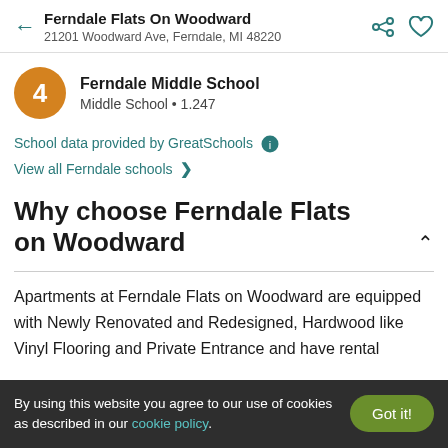Ferndale Flats On Woodward
21201 Woodward Ave, Ferndale, MI 48220
4 Ferndale Middle School
Middle School • 1.247
School data provided by GreatSchools ℹ
View all Ferndale schools >
Why choose Ferndale Flats on Woodward
Apartments at Ferndale Flats on Woodward are equipped with Newly Renovated and Redesigned, Hardwood like Vinyl Flooring and Private Entrance and have rental
By using this website you agree to our use of cookies as described in our cookie policy.